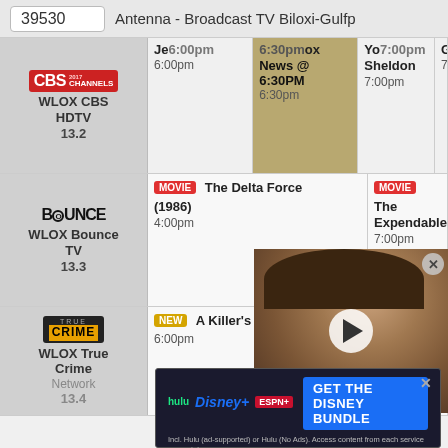39530   Antenna - Broadcast TV Biloxi-Gulfp
| Channel | Program 1 | Program 2 | Program 3 | Program 4 |
| --- | --- | --- | --- | --- |
| CBS WLOX CBS HDTV 13.2 | Jep... 6:00pm | 6:30pm Fox News @ 6:30PM 6:30pm | Young Sheldon 7:00pm | Ghosts 7:31pm |
| BOUNCE WLOX Bounce TV 13.3 | MOVIE The Delta Force (1986) 4:00pm | MOVIE The Expendables 7:00pm |  |  |
| TRUE CRIME WLOX True Crime Network 13.4 | NEW A Killer's Mist... 6:00pm |  |  |  |
[Figure (screenshot): Video player overlay showing a young man with brown hair, with a play button in the center and a close button in the corner]
[Figure (screenshot): Disney Bundle advertisement banner with Hulu, Disney+, ESPN+ logos and GET THE DISNEY BUNDLE CTA button]